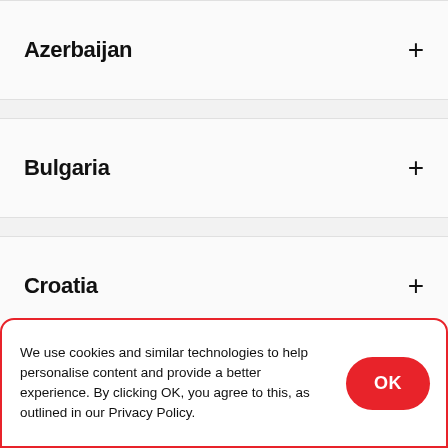Azerbaijan
Bulgaria
Croatia
Cyprus
We use cookies and similar technologies to help personalise content and provide a better experience. By clicking OK, you agree to this, as outlined in our Privacy Policy.